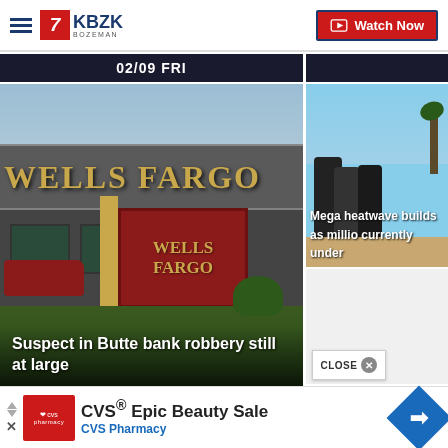KBZK Bozeman - Watch Now
02/09 FRI
[Figure (photo): Wells Fargo bank building exterior with large gold Wells Fargo sign on building facade and red Wells Fargo sign near entrance. Red vehicle visible in parking lot.]
Suspect in Butte bank robbery still at large
[Figure (photo): People in summer attire outdoors during heatwave conditions]
Mega heatwave builds as millio currently under
CLOSE
[Figure (other): CVS Epic Beauty Sale advertisement - CVS Pharmacy logo, advertisement title CVS® Epic Beauty Sale, CVS Pharmacy text, and navigation diamond arrow icon]